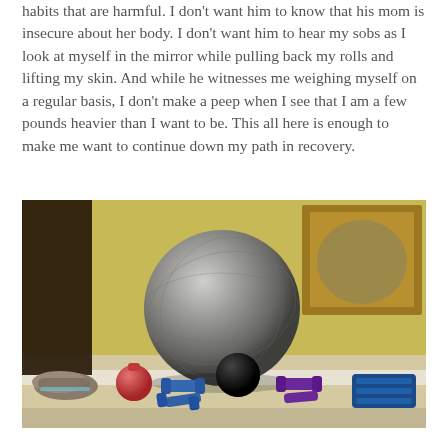habits that are harmful. I don't want him to know that his mom is insecure about her body. I don't want him to hear my sobs as I look at myself in the mirror while pulling back my rolls and lifting my skin. And while he witnesses me weighing myself on a regular basis, I don't make a peep when I see that I am a few pounds heavier than I want to be. This all here is enough to make me want to continue down my path in recovery.
[Figure (photo): Photo of exercise equipment on carpet floor: a large silver/grey exercise ball in the center, flanked by a pair of athletic shoes on the left, a pink kettlebell, blue and black dumbbells, purple dumbbells, and blue ankle weights on the right. Yellow wall in background with dark furniture on left and a wooden mirror/frame on the right.]